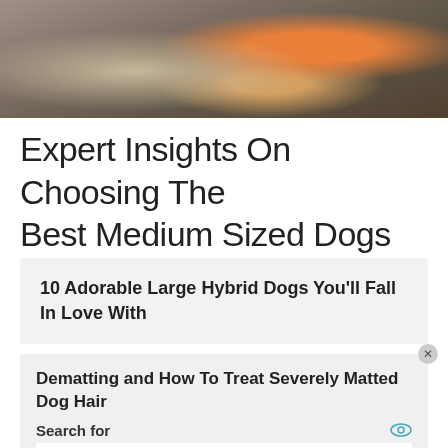[Figure (photo): Close-up photo of a dog biting or chewing on an orange toy/ball, lying on a gray surface]
Expert Insights On Choosing The Best Medium Sized Dogs
10 Adorable Large Hybrid Dogs You’ll Fall In Love With
Dematting and How To Treat Severely Matted Dog Hair
Search for
01. Home Remedies For Kennel Cough
02. Dog Home Remedies For Coughs
Yahoo! Search | Sponsored